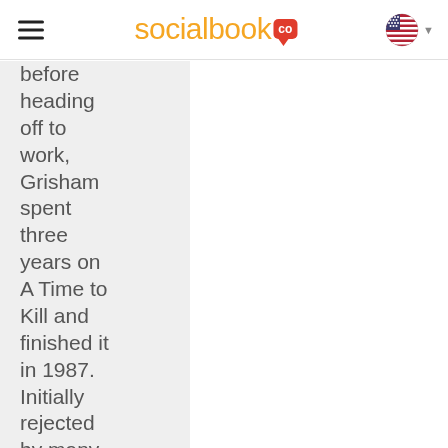socialbook co
before heading off to work, Grisham spent three years on A Time to Kill and finished it in 1987. Initially rejected by many publishers